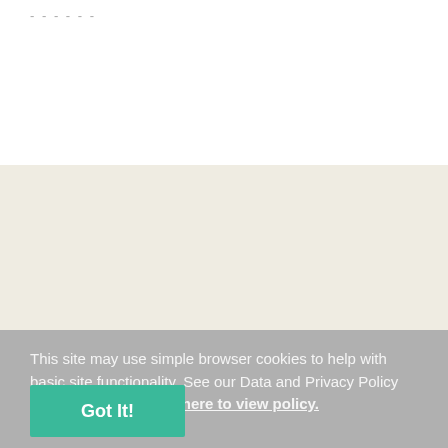------
Activities
The things we do
Horticulture Training
All Year Gardening
Arts & Crafts
This site may use simple browser cookies to help with basic site functionality. See our Data and Privacy Policy for more details. Click here to view policy.
Got It!